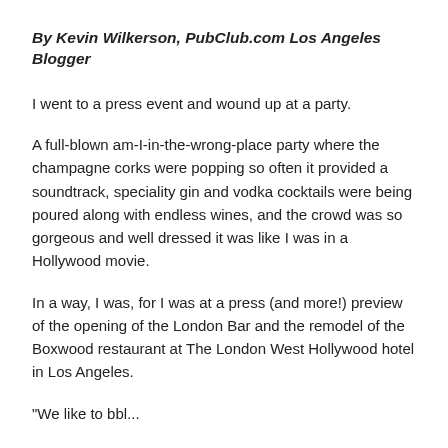By Kevin Wilkerson, PubClub.com Los Angeles Blogger
I went to a press event and wound up at a party.
A full-blown am-I-in-the-wrong-place party where the champagne corks were popping so often it provided a soundtrack, speciality gin and vodka cocktails were being poured along with endless wines, and the crowd was so gorgeous and well dressed it was like I was in a Hollywood movie.
In a way, I was, for I was at a press (and more!) preview of the opening of the London Bar and the remodel of the Boxwood restaurant at The London West Hollywood hotel in Los Angeles.
"We like to bbl...